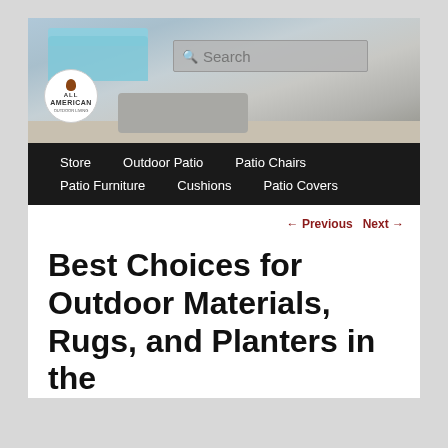[Figure (photo): Hero banner image of an outdoor patio with light blue sofa furniture, a rectangular concrete fire table, and light grey tile flooring. Overlaid with a search box.]
ALL AMERICAN OUTDOOR LIVING (logo with acorn icon)
Search (search input field)
Store    Outdoor Patio    Patio Chairs
Patio Furniture    Cushions    Patio Covers
← Previous   Next →
Best Choices for Outdoor Materials, Rugs, and Planters in the